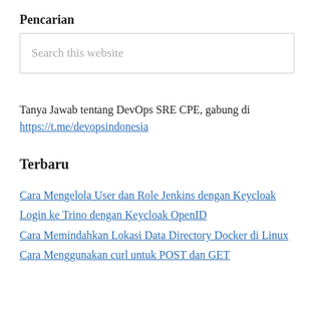Pencarian
[Figure (other): Search input box with placeholder text 'Search this website']
Tanya Jawab tentang DevOps SRE CPE, gabung di https://t.me/devopsindonesia
Terbaru
Cara Mengelola User dan Role Jenkins dengan Keycloak
Login ke Trino dengan Keycloak OpenID
Cara Memindahkan Lokasi Data Directory Docker di Linux
Cara Menggunakan curl untuk POST dan GET